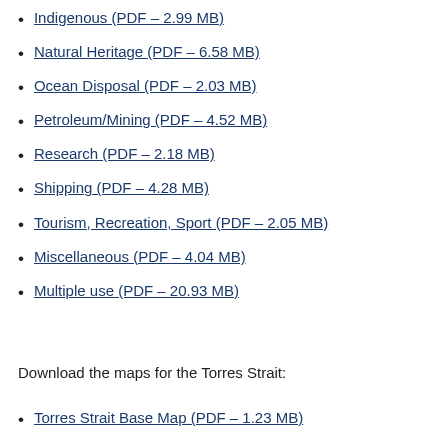Indigenous (PDF – 2.99 MB)
Natural Heritage (PDF – 6.58 MB)
Ocean Disposal (PDF – 2.03 MB)
Petroleum/Mining (PDF – 4.52 MB)
Research (PDF – 2.18 MB)
Shipping (PDF – 4.28 MB)
Tourism, Recreation, Sport (PDF – 2.05 MB)
Miscellaneous (PDF – 4.04 MB)
Multiple use (PDF – 20.93 MB)
Download the maps for the Torres Strait:
Torres Strait Base Map (PDF – 1.23 MB)